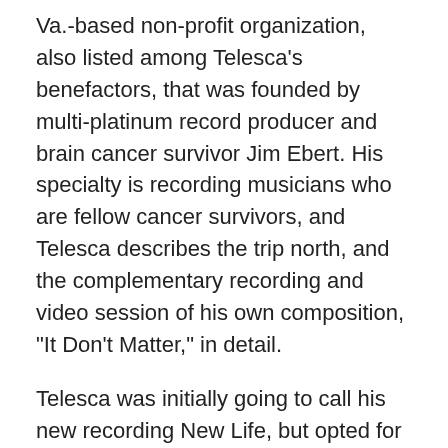Va.-based non-profit organization, also listed among Telesca's benefactors, that was founded by multi-platinum record producer and brain cancer survivor Jim Ebert. His specialty is recording musicians who are fellow cancer survivors, and Telesca describes the trip north, and the complementary recording and video session of his own composition, "It Don't Matter," in detail.
Telesca was initially going to call his new recording New Life, but opted for Higher Vibrations. Filled with nine of his original tunes and several pre-World War II blues standards, the solo disc was recorded live in the studio in the no-frills manner of that bygone era.
"It actually is a new life for me," he says. "But in my studies while trying to get better, I started to look into paradigm shifts, something I started trying to